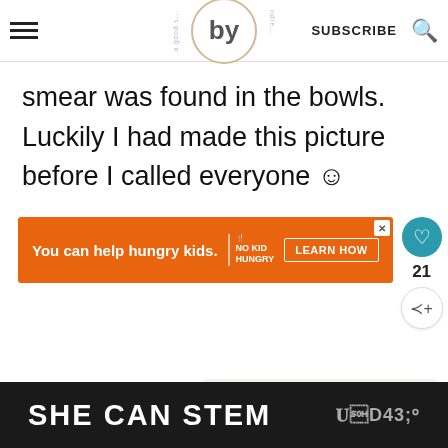by andrea — SUBSCRIBE
smear was found in the bowls. Luckily I had made this picture before I called everyone ☺
[Figure (infographic): Orange advertisement banner: 'You can help hungry kids. NO KID HUNGRY. LEARN HOW' with a close button. Side action buttons: heart icon (teal), count 21, share icon.]
[Figure (infographic): WHAT'S NEXT arrow card with small food photo thumbnail. Text: Mustard soup with smoked...]
[Figure (infographic): Dark bottom advertisement banner with white bold text: SHE CAN STEM and a W° logo on the right.]